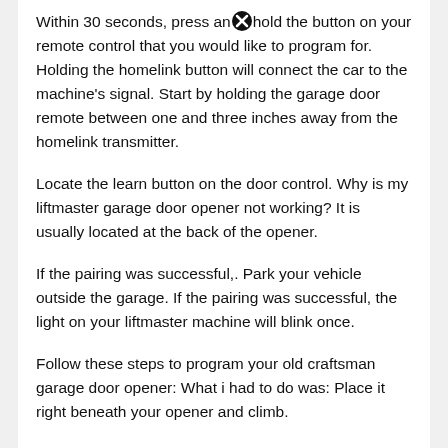Within 30 seconds, press and hold the button on your remote control that you would like to program for. Holding the homelink button will connect the car to the machine's signal. Start by holding the garage door remote between one and three inches away from the homelink transmitter.
Locate the learn button on the door control. Why is my liftmaster garage door opener not working? It is usually located at the back of the opener.
If the pairing was successful,. Park your vehicle outside the garage. If the pairing was successful, the light on your liftmaster machine will blink once.
Follow these steps to program your old craftsman garage door opener: What i had to do was: Place it right beneath your opener and climb.
Locate the mounted garage door opener. Press and release your garage door opener's learn button. The